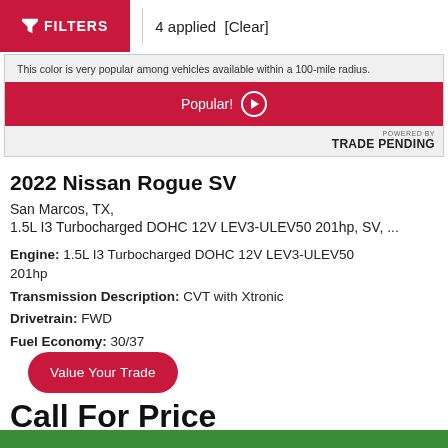FILTERS | 4 applied [Clear]
This color is very popular among vehicles available within a 100-mile radius.
Popular!
POWERED BY TRADE PENDING
2022 Nissan Rogue SV
San Marcos, TX,
1.5L I3 Turbocharged DOHC 12V LEV3-ULEV50 201hp, SV, ...
Engine: 1.5L I3 Turbocharged DOHC 12V LEV3-ULEV50 201hp
Transmission Description: CVT with Xtronic
Drivetrain: FWD
Fuel Economy: 30/37
Value Your Trade
Call For Price